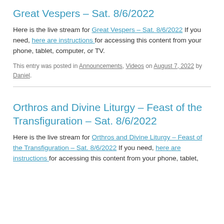Great Vespers – Sat. 8/6/2022
Here is the live stream for Great Vespers – Sat. 8/6/2022 If you need, here are instructions for accessing this content from your phone, tablet, computer, or TV.
This entry was posted in Announcements, Videos on August 7, 2022 by Daniel.
Orthros and Divine Liturgy – Feast of the Transfiguration – Sat. 8/6/2022
Here is the live stream for Orthros and Divine Liturgy – Feast of the Transfiguration – Sat. 8/6/2022 If you need, here are instructions for accessing this content from your phone, tablet,